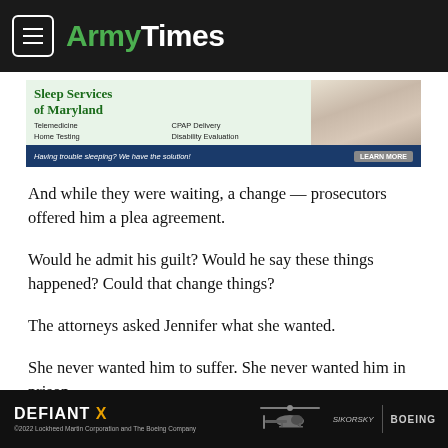ArmyTimes
[Figure (other): Advertisement for Sleep Services of Maryland — Telemedicine, Home Testing, CPAP Delivery, Disability Evaluation. Having trouble sleeping? We have the solution! LEARN MORE]
And while they were waiting, a change — prosecutors offered him a plea agreement.
Would he admit his guilt? Would he say these things happened? Could that change things?
The attorneys asked Jennifer what she wanted.
She never wanted him to suffer. She never wanted him in prison.
[Figure (other): Advertisement for DEFIANT X helicopter by Sikorsky and Boeing. ©2022 Lockheed Martin Corporation and The Boeing Company]